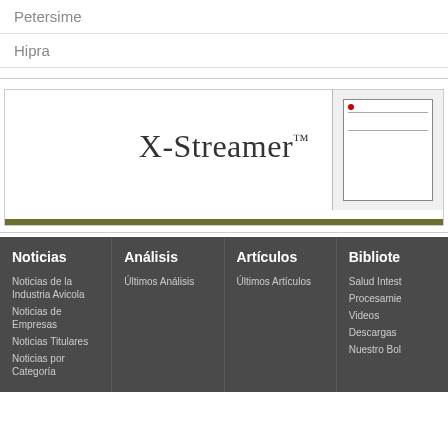Petersime
Hipra
[Figure (other): X-Streamer banner ad with product image showing a device on the right side and an olive/dark green bar at the bottom]
Noticias
Noticias de la Industria Avicola
Noticias de Empresas
Noticias Titulares
Noticias por Categoría
Análisis
Últimos Análisis
Artículos
Últimos Artículos
Bibliote
Salud Intest
Procesamie
Videos
Descargas
Nuestro Bol